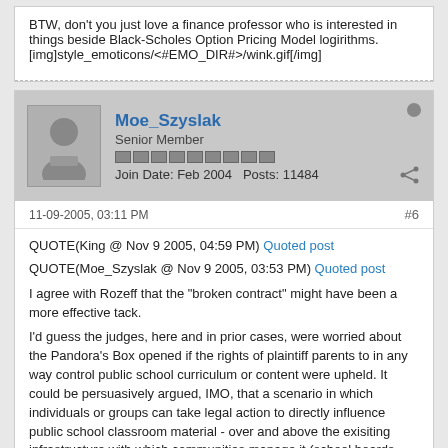BTW, don't you just love a finance professor who is interested in things beside Black-Scholes Option Pricing Model logirithms.
[img]style_emoticons/<#EMO_DIR#>/wink.gif[/img]
Moe_Szyslak
Senior Member
Join Date: Feb 2004  Posts: 11484
11-09-2005, 03:11 PM
#6
QUOTE(King @ Nov 9 2005, 04:59 PM) Quoted post
QUOTE(Moe_Szyslak @ Nov 9 2005, 03:53 PM) Quoted post
I agree with Rozeff that the "broken contract" might have been a more effective tack.

I'd guess the judges, here and in prior cases, were worried about the Pandora's Box opened if the rights of plaintiff parents to in any way control public school curriculum or content were upheld. It could be persuasively argued, IMO, that a scenario in which individuals or groups can take legal action to directly influence public school classroom material - over and above the exisiting infrastructure with which communities manage it (school boards, etc.) - would be a nightmare without end.[/b][/quote]